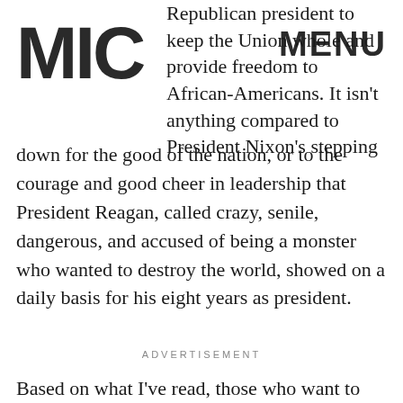MIC | MENU
Republican president to keep the Union whole and provide freedom to African-Americans. It isn't anything compared to President Nixon's stepping down for the good of the nation, or to the courage and good cheer in leadership that President Reagan, called crazy, senile, dangerous, and accused of being a monster who wanted to destroy the world, showed on a daily basis for his eight years as president.
ADVERTISEMENT
Based on what I've read, those who want to give cash